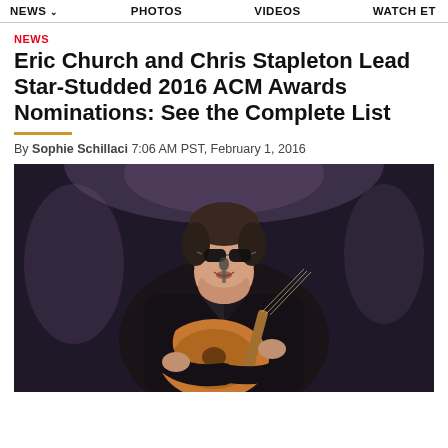NEWS  PHOTOS  VIDEOS  WATCH ET
NEWS
Eric Church and Chris Stapleton Lead Star-Studded 2016 ACM Awards Nominations: See the Complete List
By Sophie Schillaci 7:06 AM PST, February 1, 2016
[Figure (photo): A man wearing sunglasses and a black leather jacket playing an acoustic guitar on stage, smiling at the camera.]